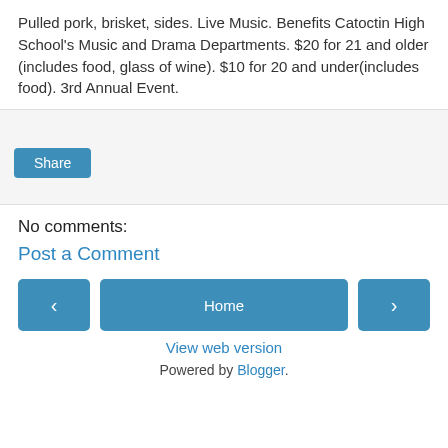Pulled pork, brisket, sides. Live Music. Benefits Catoctin High School's Music and Drama Departments. $20 for 21 and older (includes food, glass of wine). $10 for 20 and under(includes food). 3rd Annual Event.
[Figure (other): Share box with a blue Share button on a light gray background]
No comments:
Post a Comment
[Figure (other): Navigation bar with left arrow button, Home button, and right arrow button]
View web version
Powered by Blogger.